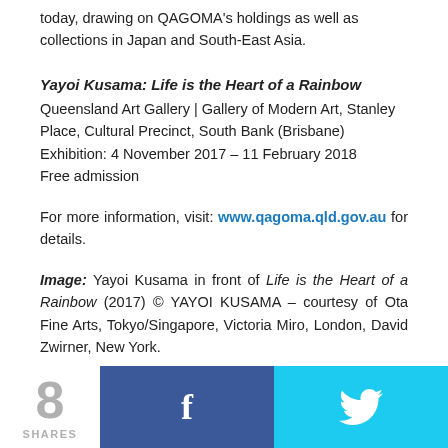today, drawing on QAGOMA's holdings as well as collections in Japan and South-East Asia.
Yayoi Kusama: Life is the Heart of a Rainbow
Queensland Art Gallery | Gallery of Modern Art, Stanley Place, Cultural Precinct, South Bank (Brisbane)
Exhibition: 4 November 2017 – 11 February 2018
Free admission
For more information, visit: www.qagoma.qld.gov.au for details.
Image: Yayoi Kusama in front of Life is the Heart of a Rainbow (2017) © YAYOI KUSAMA – courtesy of Ota Fine Arts, Tokyo/Singapore, Victoria Miro, London, David Zwirner, New York.
[Figure (infographic): Social share bar showing 8 shares, Facebook button, and Twitter button]